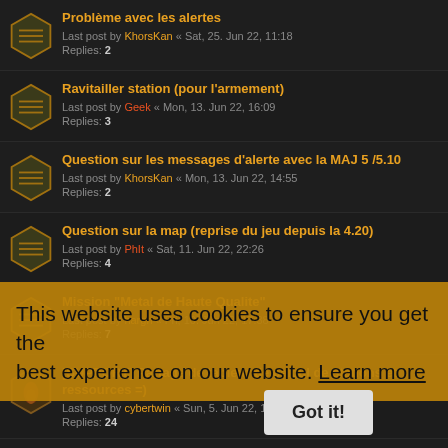Problème avec les alertes
Last post by KhorsKan « Sat, 25. Jun 22, 11:18
Replies: 2
Ravitailler station (pour l'armement)
Last post by Geek « Mon, 13. Jun 22, 16:09
Replies: 3
Question sur les messages d'alerte avec la MAJ 5 /5.10
Last post by KhorsKan « Mon, 13. Jun 22, 14:55
Replies: 2
Question sur la map (reprise du jeu depuis la 4.20)
Last post by PhIt « Sat, 11. Jun 22, 22:26
Replies: 4
Mission "Metal de Haute Qualite"
Last post by hargn « Fri, 10. Jun 22, 17:38
Replies: 7
[SUPPORT] Partage de tableur de calcul de stations et ressources =)
Last post by cybertwin « Sun, 5. Jun 22, 12:09
Replies: 24
Last post by alaundos « Mon, 23. May 22, 17:23
Replies: 3
Flotte de transport
Last post by Geek « Fri, 20. May 22, 20:40
Replies: 5
Problème gestion d'escadre
This website uses cookies to ensure you get the best experience on our website. Learn more
Got it!